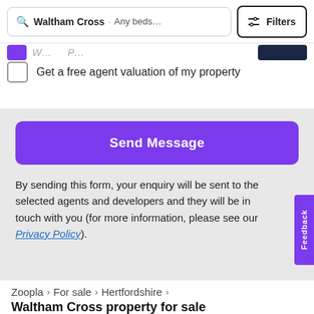Waltham Cross · Any beds... | Filters
Get a free agent valuation of my property
Send Message
By sending this form, your enquiry will be sent to the selected agents and developers and they will be in touch with you (for more information, please see our Privacy Policy).
Zoopla > For sale > Hertfordshire >
Waltham Cross property for sale